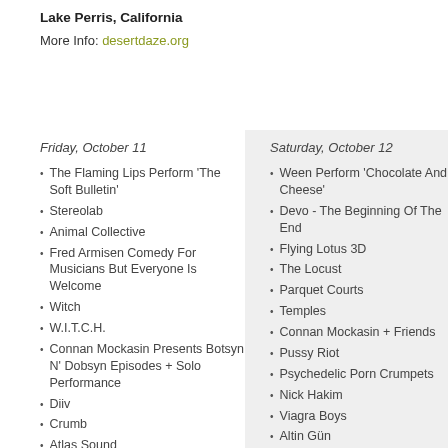Lake Perris, California
More Info: desertdaze.org
Friday, October 11
The Flaming Lips Perform 'The Soft Bulletin'
Stereolab
Animal Collective
Fred Armisen Comedy For Musicians But Everyone Is Welcome
Witch
W.I.T.C.H.
Connan Mockasin Presents Botsyn N' Dobsyn Episodes + Solo Performance
Diiv
Crumb
Atlas Sound
Metz
Jessica Pratt
Saturday, October 12
Ween Perform 'Chocolate And Cheese'
Devo - The Beginning Of The End
Flying Lotus 3D
The Locust
Parquet Courts
Temples
Connan Mockasin + Friends
Pussy Riot
Psychedelic Porn Crumpets
Nick Hakim
Viagra Boys
Altin Gün
Big Business
Surfbort
The Kyh